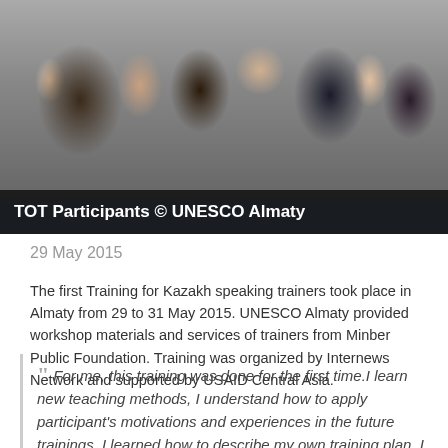[Figure (photo): Group of TOT (Training of Trainers) participants photographed from behind, gathered in a room. Multiple people visible with various hair styles and clothing.]
TOT Participants © UNESCO Almaty
29 May 2015
The first Training for Kazakh speaking trainers took place in Almaty from 29 to 31 May 2015. UNESCO Almaty provided workshop materials and services of trainers from Minber Public Foundation. Training was organized by Internews Network and supported by USAID Central Asia.
For me, this training was done for the first time.I learn new teaching methods, I understand how to apply participant's motivations and experiences in the future trainings. I learned how to describe my own training plan. I will apply